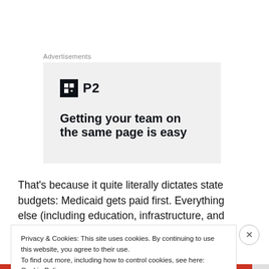Advertisements
[Figure (screenshot): Advertisement banner showing P2 logo and partial headline 'Getting your team on the same page is easy']
That’s because it quite literally dictates state budgets: Medicaid gets paid first. Everything else (including education, infrastructure, and public safety) gets the
Privacy & Cookies: This site uses cookies. By continuing to use this website, you agree to their use.
To find out more, including how to control cookies, see here: Cookie Policy
Close and accept